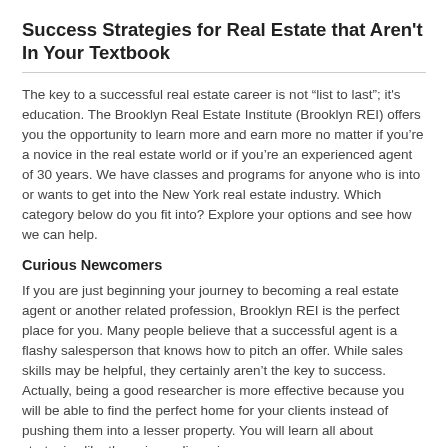Success Strategies for Real Estate that Aren't In Your Textbook
The key to a successful real estate career is not “list to last”; it's education. The Brooklyn Real Estate Institute (Brooklyn REI) offers you the opportunity to learn more and earn more no matter if you’re a novice in the real estate world or if you’re an experienced agent of 30 years. We have classes and programs for anyone who is into or wants to get into the New York real estate industry. Which category below do you fit into? Explore your options and see how we can help.
Curious Newcomers
If you are just beginning your journey to becoming a real estate agent or another related profession, Brooklyn REI is the perfect place for you. Many people believe that a successful agent is a flashy salesperson that knows how to pitch an offer. While sales skills may be helpful, they certainly aren’t the key to success. Actually, being a good researcher is more effective because you will be able to find the perfect home for your clients instead of pushing them into a lesser property. You will learn all about strategies like these in our licensing courses.
Through our 30-session program, you can earn your real estate